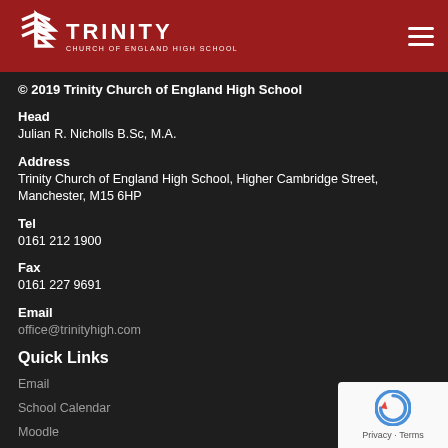Trinity Church of England High School
© 2019 Trinity Church of England High School
Head
Julian R. Nicholls B.Sc, M.A.
Address
Trinity Church of England High School, Higher Cambridge Street, Manchester, M15 6HP
Tel
0161 212 1900
Fax
0161 227 9691
Email
office@trinityhigh.com
Quick Links
Email
School Calendar
Moodle